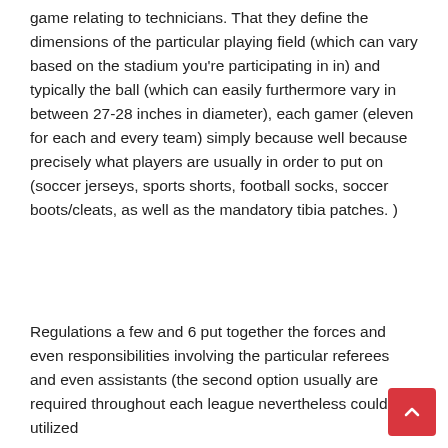game relating to technicians. That they define the dimensions of the particular playing field (which can vary based on the stadium you're participating in in) and typically the ball (which can easily furthermore vary in between 27-28 inches in diameter), each gamer (eleven for each and every team) simply because well because precisely what players are usually in order to put on (soccer jerseys, sports shorts, football socks, soccer boots/cleats, as well as the mandatory tibia patches. )
Regulations a few and 6 put together the forces and even responsibilities involving the particular referees and even assistants (the second option usually are required throughout each league nevertheless could be utilized